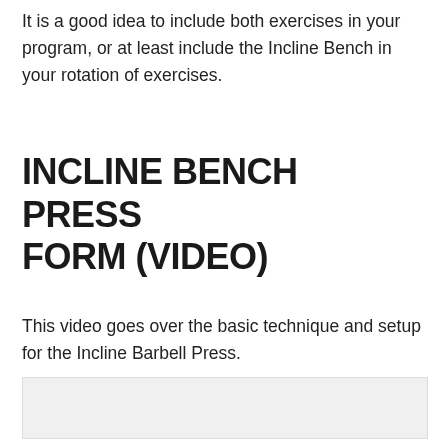It is a good idea to include both exercises in your program, or at least include the Incline Bench in your rotation of exercises.
INCLINE BENCH PRESS FORM (VIDEO)
This video goes over the basic technique and setup for the Incline Barbell Press.